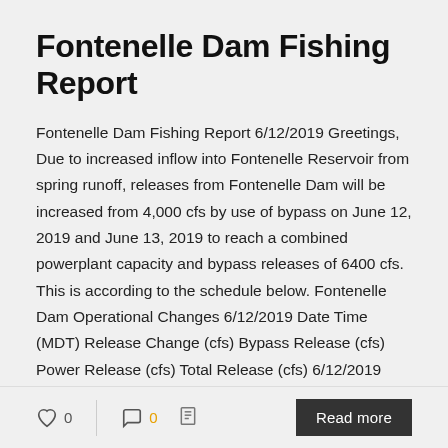Fontenelle Dam Fishing Report
Fontenelle Dam Fishing Report 6/12/2019 Greetings, Due to increased inflow into Fontenelle Reservoir from spring runoff, releases from Fontenelle Dam will be increased from 4,000 cfs by use of bypass on June 12, 2019 and June 13, 2019 to reach a combined powerplant capacity and bypass releases of 6400 cfs. This is according to the schedule below. Fontenelle Dam Operational Changes 6/12/2019 Date Time (MDT) Release Change (cfs) Bypass Release (cfs) Power Release (cfs) Total Release (cfs) 6/12/2019 8:00 AM [...]
0 likes  0 comments  Read more